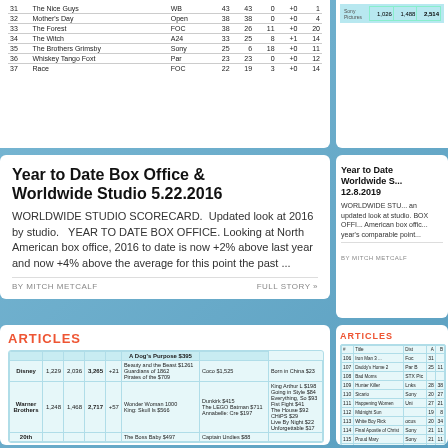| # | Title | Dist | Col1 | Col2 | Col3 | Col4 | Col5 |
| --- | --- | --- | --- | --- | --- | --- | --- |
| 31 | The Nice Guys | WB | 43 | 43 | 0 | +0 | 1 |
| 32 | Mother's Day | Open | 38 | 38 | 0 | +0 | 4 |
| 33 | The Forest | FOC | 38 | 26 | 11 | +0 | 20 |
| 34 | The Witch | A24 | 33 | 25 | 8 | +1 | 14 |
| 35 | The Brothers Grimsby | Sony | 25 | 6 | 18 | +0 | 11 |
| 36 | Whiskey Tango Foxtrot | Par | 23 | 23 | 0 | +0 | 12 |
| 37 | Race | FOC | 22 | 19 | 3 | +0 | 14 |
Year to Date Box Office & Worldwide Studio 5.22.2016
WORLDWIDE STUDIO SCORECARD. Updated look at 2016 by studio. YEAR TO DATE BOX OFFICE. Looking at North American box office, 2016 to date is now +2% above last year and now +4% above the average for this point the past ...
BY MITCH METCALF    FULL STORY »
Year to Date Box Office & Worldwide Studio 12.8.2019
WORLDWIDE STUDIO SCORECARD. an updated look at studio. BOX OFFICE. North American box office, year's comparable point...
BY MITCH METCALF
ARTICLES
| Studio | Dom | Intl | WW | +/- | Top Films | Right Col | Far Right |
| --- | --- | --- | --- | --- | --- | --- | --- |
| Disney | 1,229 | 2,036 | 3,265 | +21 | Beauty and the Beast $1261, Guardians of 1862, Pirates of the $709 | A Dog's Purpose $395, Coco $1,525 | Born in China $23 |
| Warner Brothers | 1,248 | 1,468 | 2,717 | +57 | Wonder Woman 1000, King: Skull Is $566 | Dunkirk $455, The LEGO Batman $711, Annabelle: Cre $197 | King Arthur L $198, Going in Style $84, Everything, So $93, Fist Fight $41, The House $92, CHiPS $29, Live By Night $22, Unforgettable $17 |
| 20th |  |  |  |  | The Boss Baby $497 | Captain Undies $88 |  |
ARTICLES
| # | Title | Dist | Col1 | Col2 |
| --- | --- | --- | --- | --- |
|  | Sony |  |  |  |
|  |  |  | 1,026 |  |
|  |  |  | 1,488 |  |
|  |  |  | 2,514 |  |